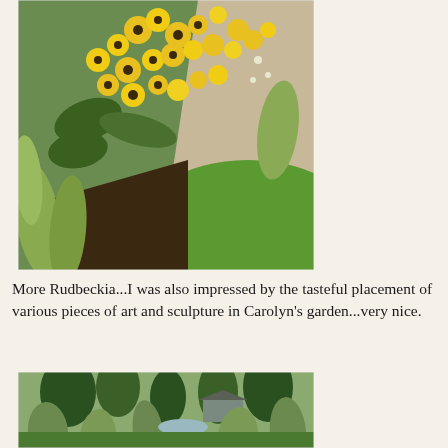[Figure (photo): Garden photo showing Rudbeckia (black-eyed Susan) yellow flowers with ornamental grasses, a gravel path, and green lawn in Carolyn's garden.]
More Rudbeckia...I was also impressed by the tasteful placement of various pieces of art and sculpture in Carolyn's garden...very nice.
[Figure (photo): Garden photo showing lush green garden with ornamental grasses, trees, and a small structure or gazebo in the background, likely Carolyn's garden.]